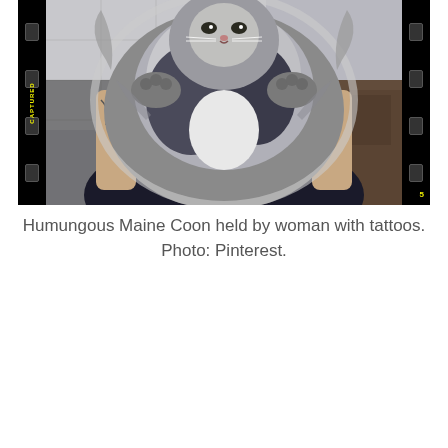[Figure (photo): A very large Maine Coon cat with fluffy grey and white fur being held up by a woman with tattoos on her arms, shown against a tiled wall background. The image is framed as a film strip with black borders containing sprocket holes on left and right sides, and the word CAPTURED printed vertically on the left strip in yellow.]
Humungous Maine Coon held by woman with tattoos. Photo: Pinterest.